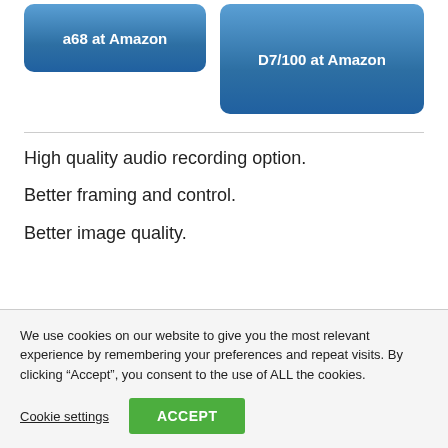[Figure (other): Two blue rounded rectangle buttons: left button labeled 'a68 at Amazon', right button labeled 'D7/100 at Amazon']
High quality audio recording option.
Better framing and control.
Better image quality.
We use cookies on our website to give you the most relevant experience by remembering your preferences and repeat visits. By clicking “Accept”, you consent to the use of ALL the cookies.
Cookie settings  ACCEPT